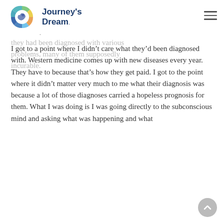Journey's Dream
to help us to get well. That was how I was working with patients. It was an interesting time. People would come in to see me and they had been diagnosed with various problems, many of them supposedly incurable.
I got to a point where I didn't care what they'd been diagnosed with. Western medicine comes up with new diseases every year. They have to because that's how they get paid. I got to the point where it didn't matter very much to me what their diagnosis was because a lot of those diagnoses carried a hopeless prognosis for them. What I was doing is I was going directly to the subconscious mind and asking what was happening and what